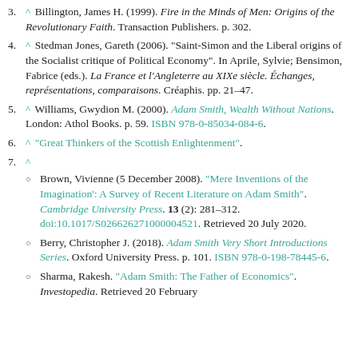3. ^ Billington, James H. (1999). Fire in the Minds of Men: Origins of the Revolutionary Faith. Transaction Publishers. p. 302.
4. ^ Stedman Jones, Gareth (2006). "Saint-Simon and the Liberal origins of the Socialist critique of Political Economy". In Aprile, Sylvie; Bensimon, Fabrice (eds.). La France et l'Angleterre au XIXe siècle. Échanges, représentations, comparaisons. Créaphis. pp. 21–47.
5. ^ Williams, Gwydion M. (2000). Adam Smith, Wealth Without Nations. London: Athol Books. p. 59. ISBN 978-0-85034-084-6.
6. ^ "Great Thinkers of the Scottish Enlightenment".
7. ^ Brown, Vivienne (5 December 2008). "Mere Inventions of the Imagination': A Survey of Recent Literature on Adam Smith". Cambridge University Press. 13 (2): 281–312. doi:10.1017/S026626271000004521. Retrieved 20 July 2020. | Berry, Christopher J. (2018). Adam Smith Very Short Introductions Series. Oxford University Press. p. 101. ISBN 978-0-198-78445-6. | Sharma, Rakesh. "Adam Smith: The Father of Economics". Investopedia. Retrieved 20 February ...